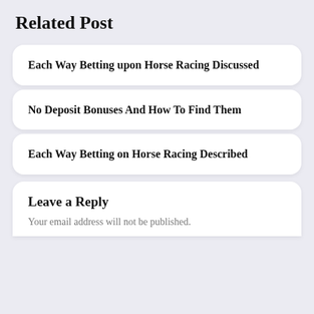Related Post
Each Way Betting upon Horse Racing Discussed
No Deposit Bonuses And How To Find Them
Each Way Betting on Horse Racing Described
Leave a Reply
Your email address will not be published.